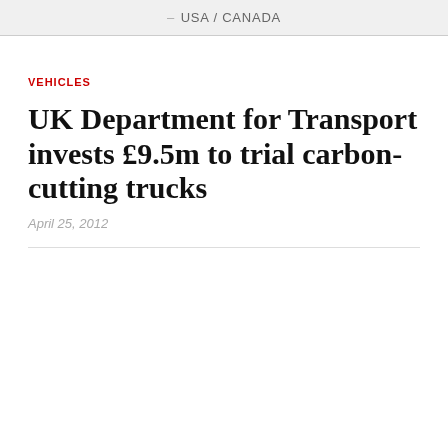USA / CANADA
VEHICLES
UK Department for Transport invests £9.5m to trial carbon-cutting trucks
April 25, 2012